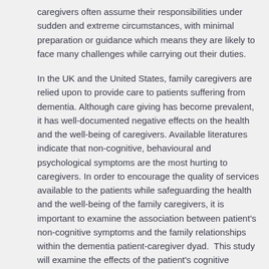caregivers often assume their responsibilities under sudden and extreme circumstances, with minimal preparation or guidance which means they are likely to face many challenges while carrying out their duties.
In the UK and the United States, family caregivers are relied upon to provide care to patients suffering from dementia. Although care giving has become prevalent, it has well-documented negative effects on the health and the well-being of caregivers. Available literatures indicate that non-cognitive, behavioural and psychological symptoms are the most hurting to caregivers. In order to encourage the quality of services available to the patients while safeguarding the health and the well-being of the family caregivers, it is important to examine the association between patient's non-cognitive symptoms and the family relationships within the dementia patient-caregiver dyad.  This study will examine the effects of the patient's cognitive capacity on the family relationships.
Background